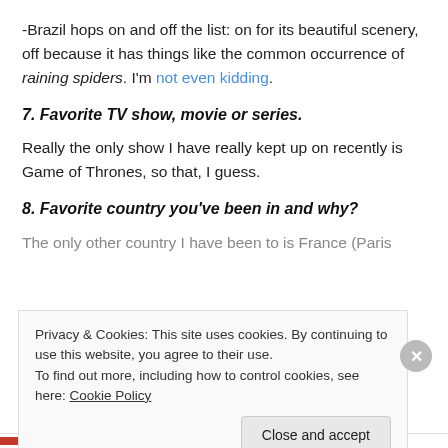-Brazil hops on and off the list: on for its beautiful scenery, off because it has things like the common occurrence of raining spiders. I'm not even kidding.
7. Favorite TV show, movie or series.
Really the only show I have really kept up on recently is Game of Thrones, so that, I guess.
8. Favorite country you've been in and why?
The only other country I have been to is France (Paris
Privacy & Cookies: This site uses cookies. By continuing to use this website, you agree to their use.
To find out more, including how to control cookies, see here: Cookie Policy
Close and accept